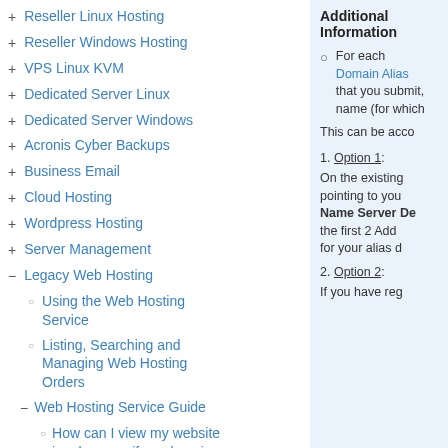+ Reseller Linux Hosting
+ Reseller Windows Hosting
+ VPS Linux KVM
+ Dedicated Server Linux
+ Dedicated Server Windows
+ Acronis Cyber Backups
+ Business Email
+ Cloud Hosting
+ Wordpress Hosting
+ Server Management
− Legacy Web Hosting
○ Using the Web Hosting Service
○ Listing, Searching and Managing Web Hosting Orders
− Web Hosting Service Guide
○ How can I view my website in a browser if my domain is pointing elsewhere?
Additional Information
For each Domain Alias that you submit, name (for which
This can be acco
1. Option 1: On the existing pointing to you Name Server De the first 2 Add for your alias d
2. Option 2: If you have reg